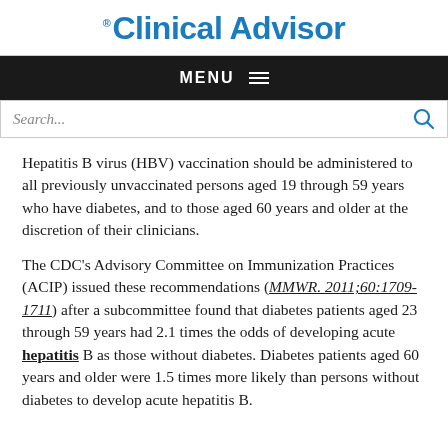Clinical Advisor
MENU
Search...
Hepatitis B virus (HBV) vaccination should be administered to all previously unvaccinated persons aged 19 through 59 years who have diabetes, and to those aged 60 years and older at the discretion of their clinicians.
The CDC’s Advisory Committee on Immunization Practices (ACIP) issued these recommendations (MMWR. 2011;60:1709-1711) after a subcommittee found that diabetes patients aged 23 through 59 years had 2.1 times the odds of developing acute hepatitis B as those without diabetes. Diabetes patients aged 60 years and older were 1.5 times more likely than persons without diabetes to develop acute hepatitis B.